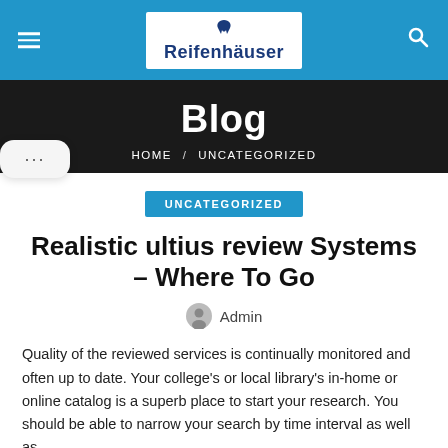[Figure (logo): Reifenhäuser logo in white box on blue navigation bar with hamburger menu icon on left and search icon on right]
Blog
HOME / UNCATEGORIZED
UNCATEGORIZED
Realistic ultius review Systems – Where To Go
Admin
Quality of the reviewed services is continually monitored and often up to date. Your college's or local library's in-home or online catalog is a superb place to start your research. You should be able to narrow your search by time interval as well as